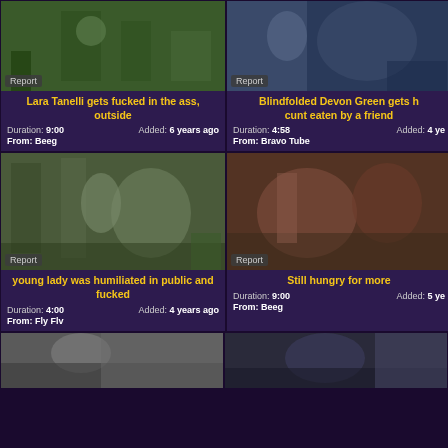[Figure (photo): Thumbnail image for video card 1 with Report badge]
Lara Tanelli gets fucked in the ass, outside
Duration: 9:00  Added: 6 years ago  From: Beeg
[Figure (photo): Thumbnail image for video card 2 with Report badge]
Blindfolded Devon Green gets her cunt eaten by a friend
Duration: 4:58  Added: 4 years ago  From: Bravo Tube
[Figure (photo): Thumbnail image for video card 3 with Report badge]
young lady was humiliated in public and fucked
Duration: 4:00  Added: 4 years ago  From: Fly Flv
[Figure (photo): Thumbnail image for video card 4 with Report badge]
Still hungry for more
Duration: 9:00  Added: 5 years ago  From: Beeg
[Figure (photo): Partial thumbnail bottom left]
[Figure (photo): Partial thumbnail bottom right]